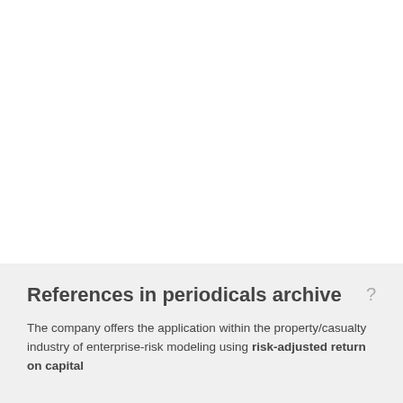References in periodicals archive
The company offers the application within the property/casualty industry of enterprise-risk modeling using risk-adjusted return on capital